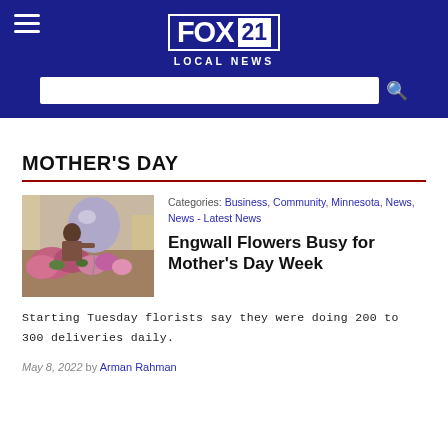FOX 21 LOCAL NEWS
MOTHER'S DAY
[Figure (photo): Florist arranging balloons and flowers inside a flower shop]
Categories: Business, Community, Minnesota, News, News - Latest News
Engwall Flowers Busy for Mother's Day Week
Starting Tuesday florists say they were doing 200 to 300 deliveries daily.
May 8, 2022 by Arman Rahman